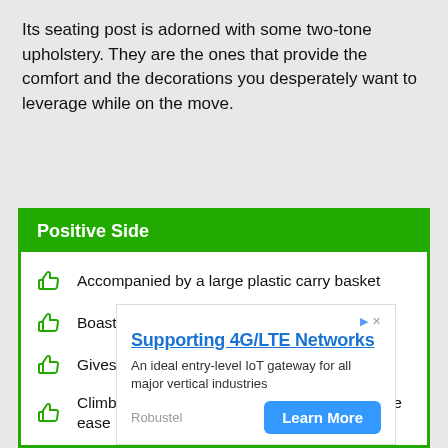Its seating post is adorned with some two-tone upholstery. They are the ones that provide the comfort and the decorations you desperately want to leverage while on the move.
Positive Side
Accompanied by a large plastic carry basket
Boasts of a comfortable turning radius
Gives off some comfortable ground clearance
Climbs hills and higher elevations with absolute ease
[Figure (other): Advertisement banner for Robustel: Supporting 4G/LTE Networks. An ideal entry-level IoT gateway for all major vertical industries. Learn More button.]